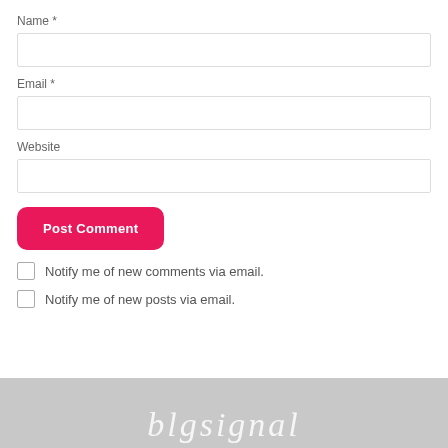Name *
Email *
Website
Post Comment
Notify me of new comments via email.
Notify me of new posts via email.
blogsi gnal